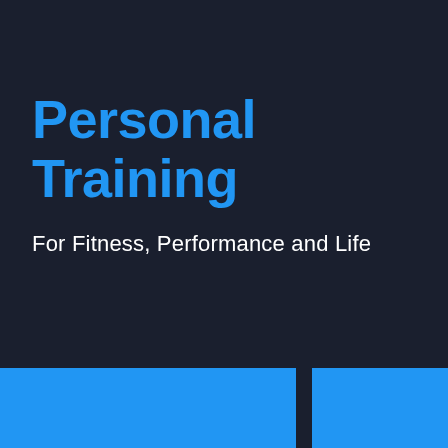Personal Training
For Fitness, Performance and Life
[Figure (illustration): Two blue rectangular blocks at the bottom of the page on a dark navy background, serving as decorative design elements]